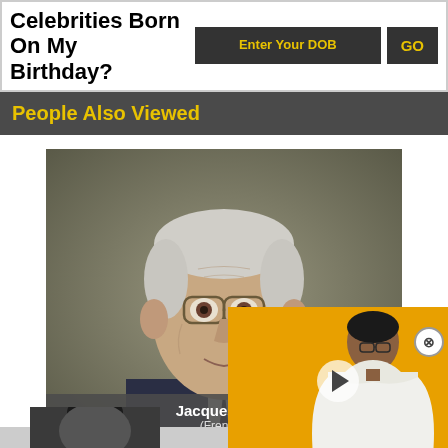Celebrities Born On My Birthday?
Enter Your DOB
GO
People Also Viewed
[Figure (photo): Portrait photo of an elderly man with glasses wearing a suit, with overlay text 'Jacques Co... (Frenc...' and a video panel showing a woman in white clothing on yellow background with a play button.]